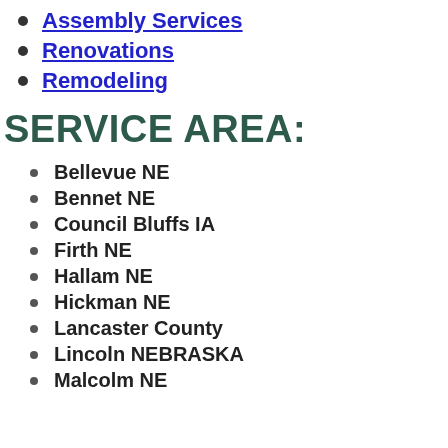Assembly Services
Renovations
Remodeling
SERVICE AREA:
Bellevue NE
Bennet NE
Council Bluffs IA
Firth NE
Hallam NE
Hickman NE
Lancaster County
Lincoln NEBRASKA
Malcolm NE